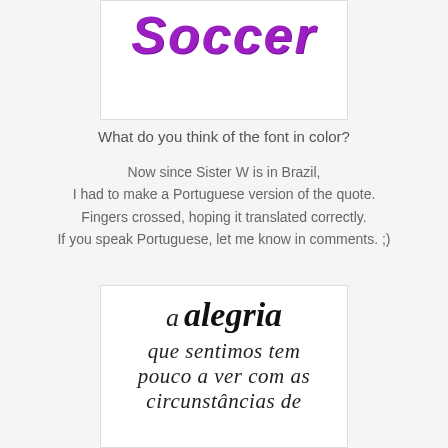[Figure (illustration): White box with the word 'Soccer' in large purple italic cursive/brush font]
What do you think of the font in color?
Now since Sister W is in Brazil,
I had to make a Portuguese version of the quote.
Fingers crossed, hoping it translated correctly.
If you speak Portuguese, let me know in comments. ;)
[Figure (illustration): White box with Portuguese text in italic script font: 'a alegria que sentimos tem pouco a ver com as circunstâncias de']